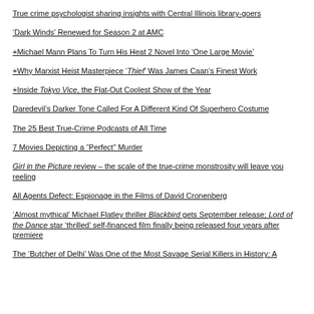True crime psychologist sharing insights with Central Illinois library-goers
‘Dark Winds’ Renewed for Season 2 at AMC
+Michael Mann Plans To Turn His Heat 2 Novel Into ‘One Large Movie’
+Why Marxist Heist Masterpiece ‘Thief’ Was James Caan’s Finest Work
+Inside Tokyo Vice, the Flat-Out Coolest Show of the Year
Daredevil’s Darker Tone Called For A Different Kind Of Superhero Costume
The 25 Best True-Crime Podcasts of All Time
7 Movies Depicting a “Perfect” Murder
Girl in the Picture review – the scale of the true-crime monstrosity will leave you reeling
All Agents Defect: Espionage in the Films of David Cronenberg
‘Almost mythical’ Michael Flatley thriller Blackbird gets September release; Lord of the Dance star ‘thrilled’ self-financed film finally being released four years after premiere
The ‘Butcher of Delhi’ Was One of the Most Savage Serial Killers in History: A